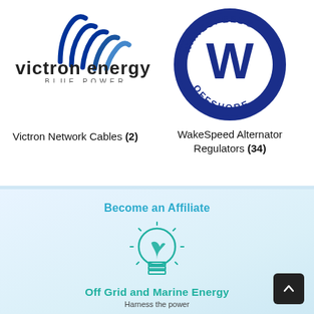[Figure (logo): Victron Energy Blue Power logo with wave/signal icon above the text 'victron energy' and 'BLUE POWER' tagline]
[Figure (logo): WakeSpeed Offshore circular logo with large W in center and text 'WAKESPEED' and 'OFFSHORE' around the ring]
Victron Network Cables (2)
WakeSpeed Alternator Regulators (34)
Become an Affiliate
[Figure (logo): Off Grid and Marine Energy logo: lightbulb with plant sprout inside, teal/green colored]
Off Grid and Marine Energy
Harness the power